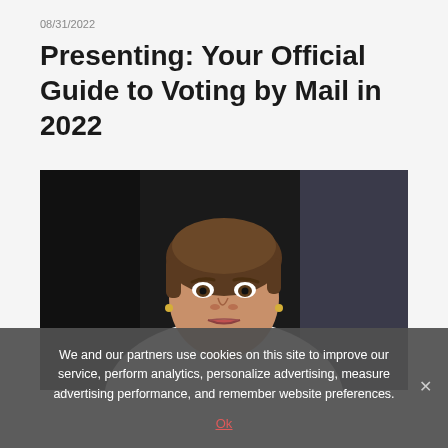08/31/2022
Presenting: Your Official Guide to Voting by Mail in 2022
[Figure (photo): A woman with short brown hair wearing a white top with black collar, looking serious, in a dark background setting.]
We and our partners use cookies on this site to improve our service, perform analytics, personalize advertising, measure advertising performance, and remember website preferences.
Ok